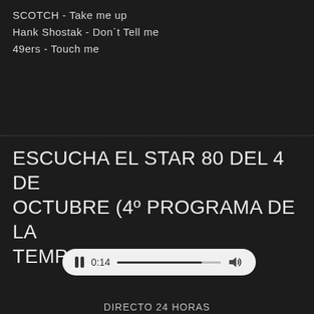SCOTCH - Take me up
Hank Shostak - Don't Tell me
49ers - Touch me
ESCUCHA EL STAR 80 DEL 4 DE OCTUBRE (4º PROGRAMA DE LA TEMPORADA)
[Figure (other): Audio player pill UI showing pause button, time 0:14, progress bar mostly filled, and volume icon]
DIRECTO 24 HORAS